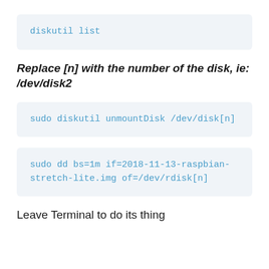diskutil list
Replace [n] with the number of the disk, ie: /dev/disk2
sudo diskutil unmountDisk /dev/disk[n]
sudo dd bs=1m if=2018-11-13-raspbian-stretch-lite.img of=/dev/rdisk[n]
Leave Terminal to do its thing